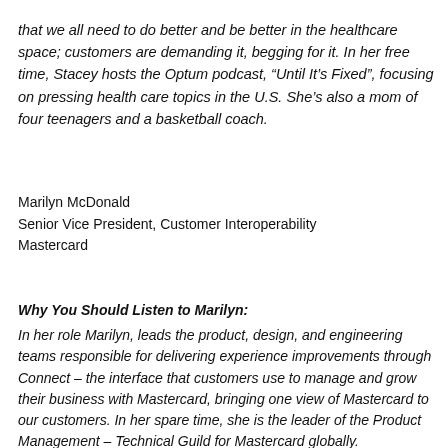that we all need to do better and be better in the healthcare space; customers are demanding it, begging for it. In her free time, Stacey hosts the Optum podcast, “Until It’s Fixed”, focusing on pressing health care topics in the U.S. She’s also a mom of four teenagers and a basketball coach.
Marilyn McDonald
Senior Vice President, Customer Interoperability
Mastercard
Why You Should Listen to Marilyn:
In her role Marilyn, leads the product, design, and engineering teams responsible for delivering experience improvements through Connect – the interface that customers use to manage and grow their business with Mastercard, bringing one view of Mastercard to our customers. In her spare time, she is the leader of the Product Management – Technical Guild for Mastercard globally.